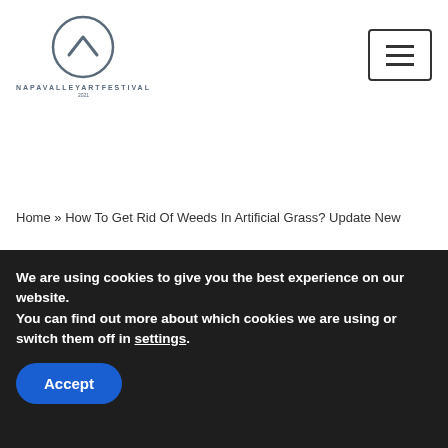[Figure (logo): NapaValleyArtFestival logo: circle with upward chevron icon and text NAPAVALLEYARTFESTIVAL below]
[Figure (other): Hamburger menu button (three horizontal lines) in a bordered rectangle]
Home » How To Get Rid Of Weeds In Artificial Grass? Update New
How To Get Rid Of
We are using cookies to give you the best experience on our website.
You can find out more about which cookies we are using or switch them off in settings.
Accept